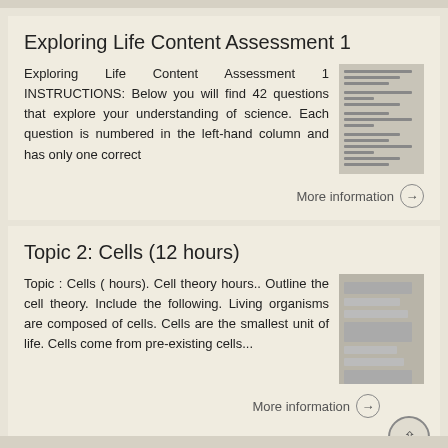Exploring Life Content Assessment 1
Exploring Life Content Assessment 1 INSTRUCTIONS: Below you will find 42 questions that explore your understanding of science. Each question is numbered in the left-hand column and has only one correct
More information →
Topic 2: Cells (12 hours)
Topic : Cells ( hours). Cell theory hours.. Outline the cell theory. Include the following. Living organisms are composed of cells. Cells are the smallest unit of life. Cells come from pre-existing cells...
More information →